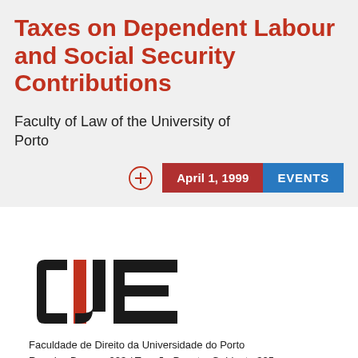Taxes on Dependent Labour and Social Security Contributions
Faculty of Law of the University of Porto
April 1, 1999
EVENTS
[Figure (logo): CIJE logo — stylized letters C, I, J, E in black and red]
Faculdade de Direito da Universidade do Porto
Rua dos Bragas, 223 / Torreão Poente, Gabinete 325
4050-123 Porto - Portugal